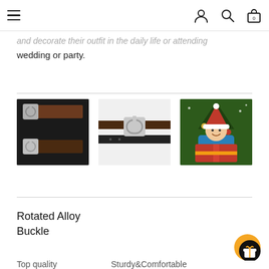Navigation bar with hamburger menu, user icon, search icon, and shopping bag with 0 items
and decorate their outfit in the daily life or attending wedding or party.
[Figure (photo): Three product photos: two belt buckles on dark background, a close-up of a black belt with silver buckle on white background, and a child in Santa hat holding a red gift box in front of a Christmas tree]
Rotated Alloy Buckle
Top quality   Sturdy&Comfortable